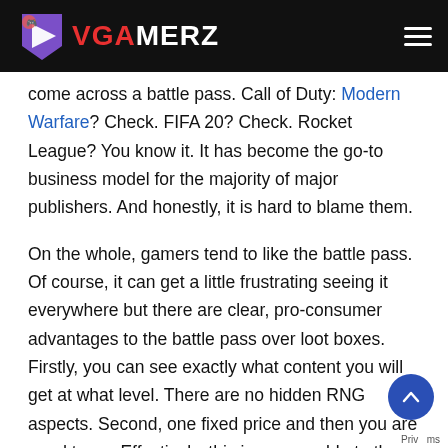VGAMERZ
come across a battle pass. Call of Duty: Modern Warfare? Check. FIFA 20? Check. Rocket League? You know it. It has become the go-to business model for the majority of major publishers. And honestly, it is hard to blame them.
On the whole, gamers tend to like the battle pass. Of course, it can get a little frustrating seeing it everywhere but there are clear, pro-consumer advantages to the battle pass over loot boxes. Firstly, you can see exactly what content you will get at what level. There are no hidden RNG aspects. Second, one fixed price and then you are good to go. Effectively, this is comparable to the traditional DLC